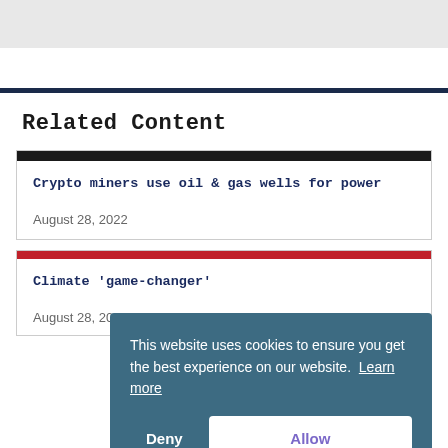Related Content
Crypto miners use oil & gas wells for power
August 28, 2022
Climate 'game-changer'
August 28, 2022
This website uses cookies to ensure you get the best experience on our website.  Learn more
Deny
Allow